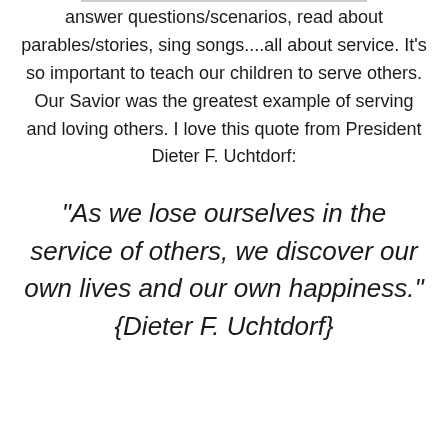answer questions/scenarios, read about parables/stories, sing songs....all about service. It's so important to teach our children to serve others. Our Savior was the greatest example of serving and loving others. I love this quote from President Dieter F. Uchtdorf:
“As we lose ourselves in the service of others, we discover our own lives and our own happiness.” {Dieter F. Uchtdorf}